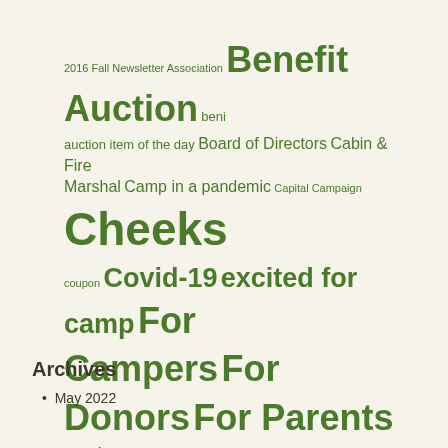[Figure (infographic): Tag cloud with green words of varying sizes representing blog/newsletter categories including: 2016 Fall Newsletter Association, Benefit Auction, beni, auction item of the day, Board of Directors, Cabin & Fire Marshal, Camp in a pandemic, Capital Campaign, Cheeks, coupon, Covid-19, excited for camp, For Campers, For Donors, For Parents, God, God & Jesus, Inside Out, Kingdom of God, Love!, Mission Possible, Mission Possible: Summer 2013, Newsletter, Pavi, Pavilion Project, paviprogress, Pavi Project Giving Update, Pictures, Rent Camp, Snow Camp, Spiritual Saturday, staff, Staff Returning, summer camp, Summer Dates, Summer Staff, Summer theme, tuna, Tuna Tuesday, Video, Volunteers, why camp, Winter, Winter Camp, Work Day]
Archives
May 2022